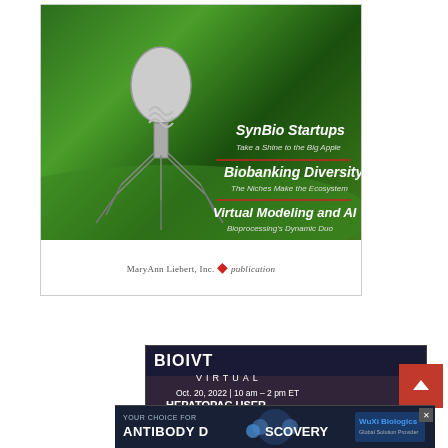[Figure (illustration): Magazine cover advertisement featuring a bacteriophage illustration on a green background. Text reads: 'SynBio Startups - Take a Shine to the Big Apple', 'Biobanking Diversity - The Niches Make the Ecosystem', 'Virtual Modeling and AI - Bioprocessing's Dynamic Duo'. Bottom white bar with 'MaryAnn Liebert, Inc. publication' logo.]
[Figure (illustration): BIOIVT Virtual event advertisement with dark background and lab imagery. Text: 'BIOIVT', 'VIRTUAL', 'Oct. 20, 2022 | 10 am – 2 pm ET', 'HEPATOPAC USER GROUP MEETING', 'Innovative Applications Using...' with an X close button in top right corner.]
[Figure (illustration): WuXi Biologics banner ad. Text: 'YOUR CHOICE FOR', 'ANTIBODY DISCOVERY', 'WuXi Biologics - Global Solution Provider'. Shows antibody molecule imagery and an X close button.]